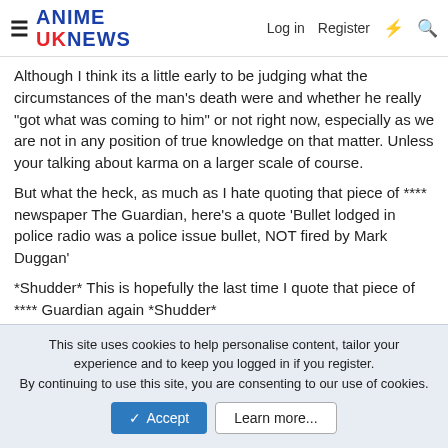ANIME UK NEWS — Log in  Register
Although I think its a little early to be judging what the circumstances of the man's death were and whether he really "got what was coming to him" or not right now, especially as we are not in any position of true knowledge on that matter. Unless your talking about karma on a larger scale of course.

But what the heck, as much as I hate quoting that piece of **** newspaper The Guardian, here's a quote 'Bullet lodged in police radio was a police issue bullet, NOT fired by Mark Duggan'

*Shudder* This is hopefully the last time I quote that piece of **** Guardian again *Shudder*
↩ Reply
This site uses cookies to help personalise content, tailor your experience and to keep you logged in if you register.
By continuing to use this site, you are consenting to our use of cookies.